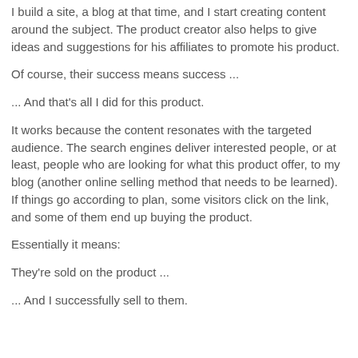I build a site, a blog at that time, and I start creating content around the subject. The product creator also helps to give ideas and suggestions for his affiliates to promote his product.
Of course, their success means success ...
... And that's all I did for this product.
It works because the content resonates with the targeted audience. The search engines deliver interested people, or at least, people who are looking for what this product offer, to my blog (another online selling method that needs to be learned). If things go according to plan, some visitors click on the link, and some of them end up buying the product.
Essentially it means:
They're sold on the product ...
... And I successfully sell to them.